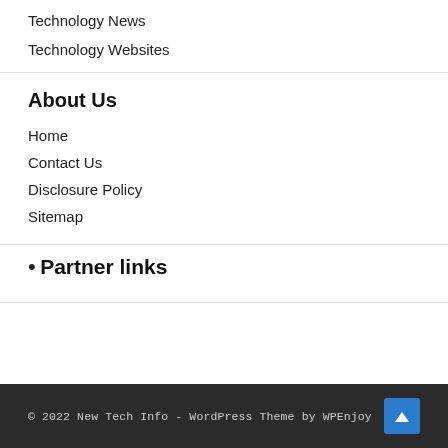Technology News
Technology Websites
About Us
Home
Contact Us
Disclosure Policy
Sitemap
•
Partner links
© 2022 New Tech Info - WordPress Theme by WPEnjoy